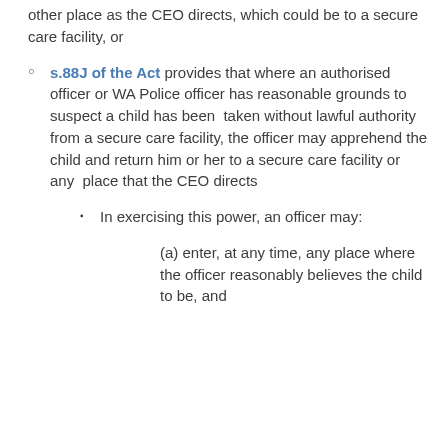other place as the CEO directs, which could be to a secure care facility, or
s.88J of the Act provides that where an authorised officer or WA Police officer has reasonable grounds to suspect a child has been taken without lawful authority from a secure care facility, the officer may apprehend the child and return him or her to a secure care facility or any place that the CEO directs
In exercising this power, an officer may:
(a) enter, at any time, any place where the officer reasonably believes the child to be, and